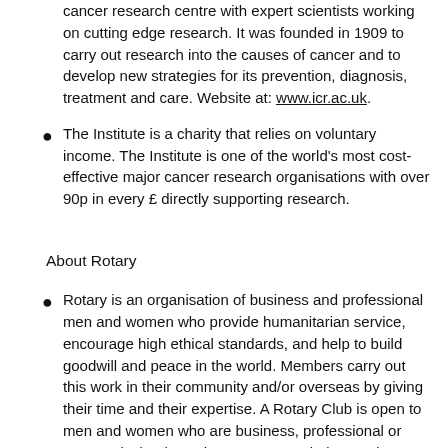cancer research centre with expert scientists working on cutting edge research. It was founded in 1909 to carry out research into the causes of cancer and to develop new strategies for its prevention, diagnosis, treatment and care. Website at: www.icr.ac.uk.
The Institute is a charity that relies on voluntary income. The Institute is one of the world's most cost-effective major cancer research organisations with over 90p in every £ directly supporting research.
About Rotary
Rotary is an organisation of business and professional men and women who provide humanitarian service, encourage high ethical standards, and help to build goodwill and peace in the world. Members carry out this work in their community and/or overseas by giving their time and their expertise. A Rotary Club is open to men and women who are business, professional or community leaders who want to use their experience for the